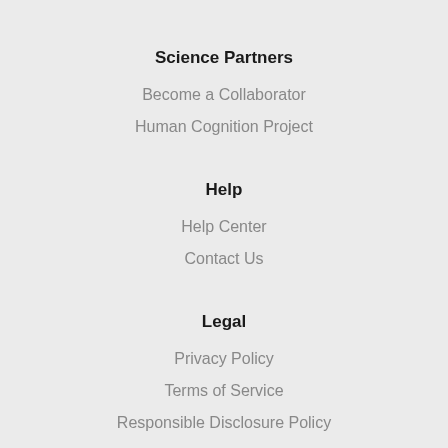Science Partners
Become a Collaborator
Human Cognition Project
Help
Help Center
Contact Us
Legal
Privacy Policy
Terms of Service
Responsible Disclosure Policy